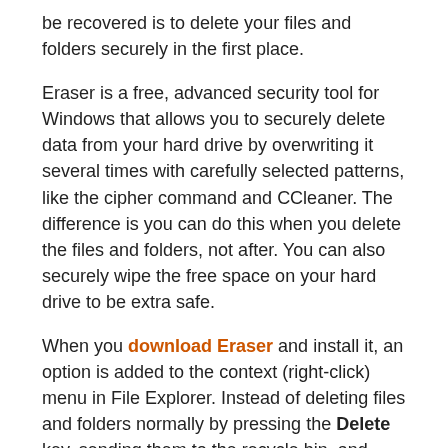be recovered is to delete your files and folders securely in the first place.
Eraser is a free, advanced security tool for Windows that allows you to securely delete data from your hard drive by overwriting it several times with carefully selected patterns, like the cipher command and CCleaner. The difference is you can do this when you delete the files and folders, not after. You can also securely wipe the free space on your hard drive to be extra safe.
When you download Eraser and install it, an option is added to the context (right-click) menu in File Explorer. Instead of deleting files and folders normally by pressing the Delete key, sending them to the recycle bin, and then emptying the recycle bin, you can use Eraser directly in File Explorer to securely delete files and folders.
To securely delete one or more files or folders, select